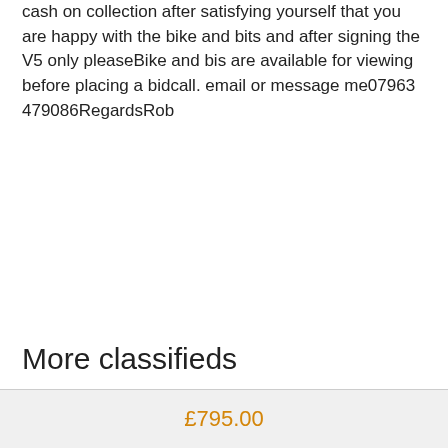cash on collection after satisfying yourself that you are happy with the bike and bits and after signing the V5 only pleaseBike and bis are available for viewing before placing a bidcall. email or message me07963 479086RegardsRob
More classifieds
£795.00